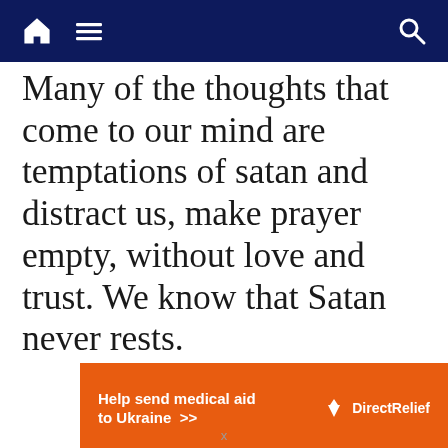Navigation bar with home, menu, and search icons
Many of the thoughts that come to our mind are temptations of satan and distract us, make prayer empty, without love and trust. We know that Satan never rests.
[Figure (infographic): Orange advertisement banner: 'Help send medical aid to Ukraine >> Direct Relief' with Direct Relief logo]
x